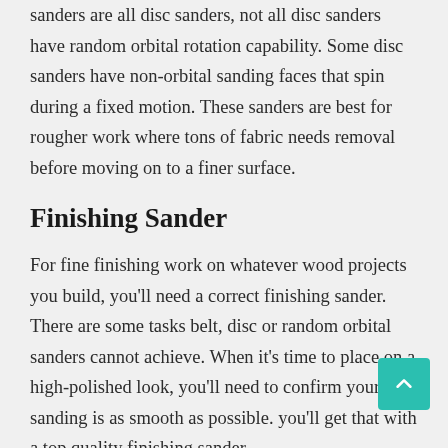sanders are all disc sanders, not all disc sanders have random orbital rotation capability. Some disc sanders have non-orbital sanding faces that spin during a fixed motion. These sanders are best for rougher work where tons of fabric needs removal before moving on to a finer surface.
Finishing Sander
For fine finishing work on whatever wood projects you build, you'll need a correct finishing sander. There are some tasks belt, disc or random orbital sanders cannot achieve. When it's time to place on a high-polished look, you'll need to confirm your sanding is as smooth as possible. you'll get that with a top quality finishing sander.